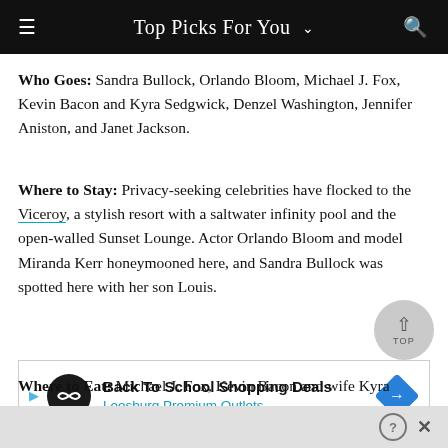Top Picks For You
Who Goes: Sandra Bullock, Orlando Bloom, Michael J. Fox, Kevin Bacon and Kyra Sedgwick, Denzel Washington, Jennifer Aniston, and Janet Jackson.
Where to Stay: Privacy-seeking celebrities have flocked to the Viceroy, a stylish resort with a saltwater infinity pool and the open-walled Sunset Lounge. Actor Orlando Bloom and model Miranda Kerr honeymooned here, and Sandra Bullock was spotted here with her son Louis.
[Figure (other): Advertisement banner for Leesburg Premium Outlets - Back To School Shopping Deals]
Where to Eat: Michael J. Fox, Kevin Bacon and wife Kyra